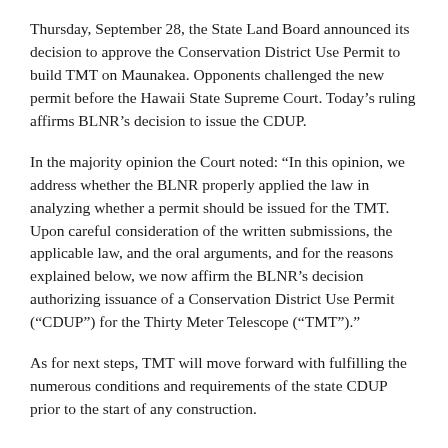Thursday, September 28, the State Land Board announced its decision to approve the Conservation District Use Permit to build TMT on Maunakea. Opponents challenged the new permit before the Hawaii State Supreme Court. Today's ruling affirms BLNR's decision to issue the CDUP.
In the majority opinion the Court noted: “In this opinion, we address whether the BLNR properly applied the law in analyzing whether a permit should be issued for the TMT. Upon careful consideration of the written submissions, the applicable law, and the oral arguments, and for the reasons explained below, we now affirm the BLNR’s decision authorizing issuance of a Conservation District Use Permit (“CDUP”) for the Thirty Meter Telescope (“TMT”).”
As for next steps, TMT will move forward with fulfilling the numerous conditions and requirements of the state CDUP prior to the start of any construction.